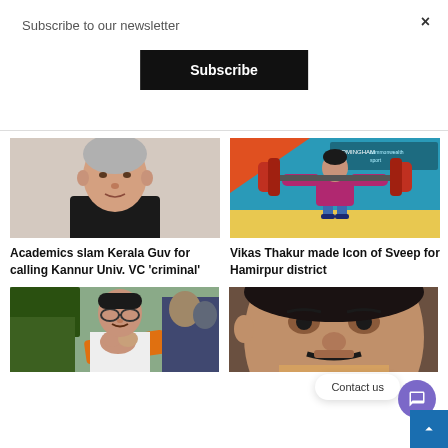Subscribe to our newsletter
×
Subscribe
[Figure (photo): Portrait of an elderly man in a black suit/jacket with grey hair]
[Figure (photo): Weightlifter at Commonwealth Games 2022, lifting heavy barbell, wearing maroon outfit]
Academics slam Kerala Guv for calling Kannur Univ. VC 'criminal'
Vikas Thakur made Icon of Sveep for Hamirpur district
[Figure (photo): Man in orange scarf with hands joined in namaste gesture, crowd background]
[Figure (photo): Close-up of a man's face with moustache]
Contact us